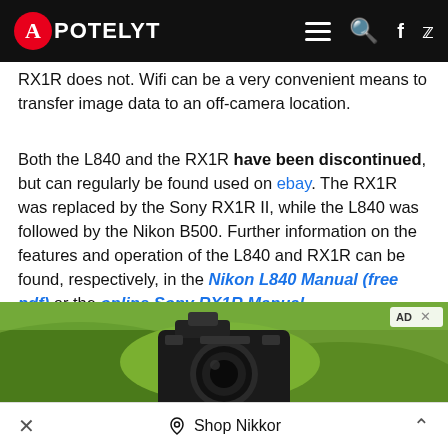APOTELYT
RX1R does not. Wifi can be a very convenient means to transfer image data to an off-camera location.
Both the L840 and the RX1R have been discontinued, but can regularly be found used on ebay. The RX1R was replaced by the Sony RX1R II, while the L840 was followed by the Nikon B500. Further information on the features and operation of the L840 and RX1R can be found, respectively, in the Nikon L840 Manual (free pdf) or the online Sony RX1R Manual.
[Figure (photo): Advertisement photo showing an Olympus mirrorless camera on a tripod in a green hilly landscape.]
Shop Nikkor